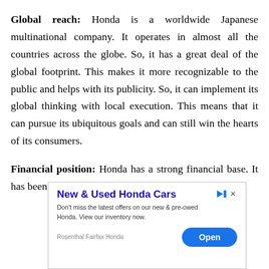Global reach: Honda is a worldwide Japanese multinational company. It operates in almost all the countries across the globe. So, it has a great deal of the global footprint. This makes it more recognizable to the public and helps with its publicity. So, it can implement its global thinking with local execution. This means that it can pursue its ubiquitous goals and can still win the hearts of its consumers.
Financial position: Honda has a strong financial base. It has been gaining market slowly but surely for about 75
[Figure (other): Advertisement banner for Rosenthal Fairfax Honda car dealership. Title: 'New & Used Honda Cars'. Body text: 'Don't miss the latest offers on our new & pre-owed Honda. View our inventory now.' Sponsor: 'Rosenthal Fairfax Honda'. Blue 'Open' button on the right.]